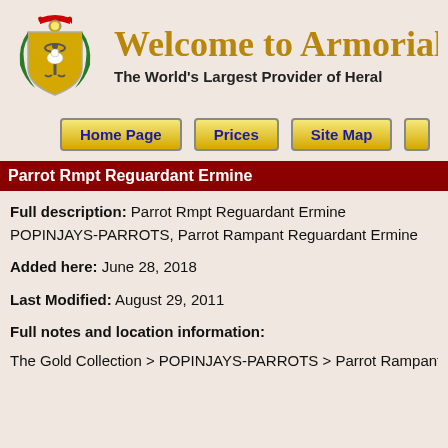[Figure (logo): Armorial Gold heraldic shield logo with anchor, bird, and laurel wreath]
Welcome to Armorial G
The World's Largest Provider of Heral
Home Page | Prices | Site Map
Parrot Rmpt Reguardant Ermine
Full description: Parrot Rmpt Reguardant Ermine POPINJAYS-PARROTS, Parrot Rampant Reguardant Ermine
Added here: June 28, 2018
Last Modified: August 29, 2011
Full notes and location information:
The Gold Collection > POPINJAYS-PARROTS > Parrot Rampant Regua